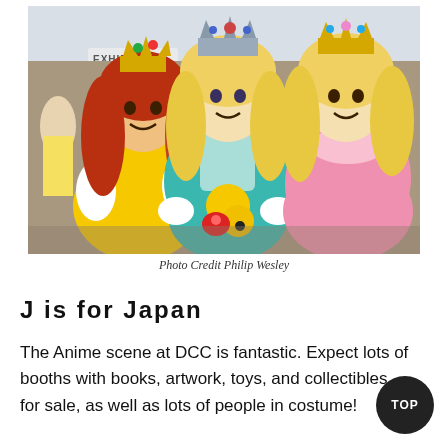[Figure (photo): Three women dressed in Mario princesses cosplay costumes (Daisy in yellow, Rosalina in teal, Peach in pink) posing at what appears to be a convention center with a crowd in the background.]
Photo Credit Philip Wesley
J is for Japan
The Anime scene at DCC is fantastic. Expect lots of booths with books, artwork, toys, and collectibles for sale, as well as lots of people in costume!